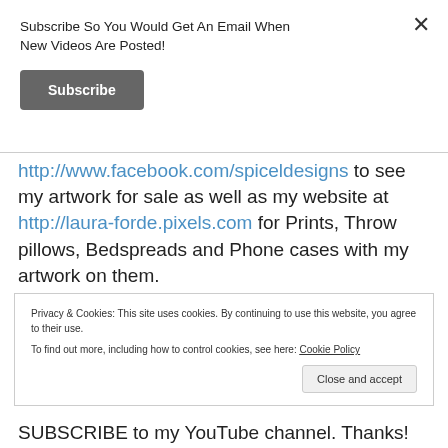Subscribe So You Would Get An Email When New Videos Are Posted!
Subscribe
http://www.facebook.com/spiceldesigns to see my artwork for sale as well as my website at http://laura-forde.pixels.com for Prints, Throw pillows, Bedspreads and Phone cases with my artwork on them.
Privacy & Cookies: This site uses cookies. By continuing to use this website, you agree to their use.
To find out more, including how to control cookies, see here: Cookie Policy
Close and accept
SUBSCRIBE to my YouTube channel. Thanks!